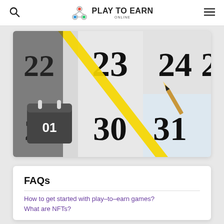Play To Earn Online
[Figure (photo): A close-up of a calendar showing dates 23, 24, 25, 30, 31 with a pencil pointing at 31. A calendar icon with '01' is overlaid on the left side with a yellow diagonal stripe.]
FAQs
How to get started with play-to-earn games?
What are NFTs?